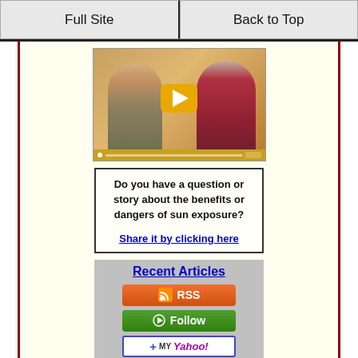Full Site | Back to Top
[Figure (photo): Video thumbnail showing two people (young man and older woman) with a yellow play button overlay, video progress bar at bottom]
Do you have a question or story about the benefits or dangers of sun exposure?

Share it by clicking here
Recent Articles
[Figure (other): RSS button (orange), Follow button (green), My Yahoo! button]
Proposed new